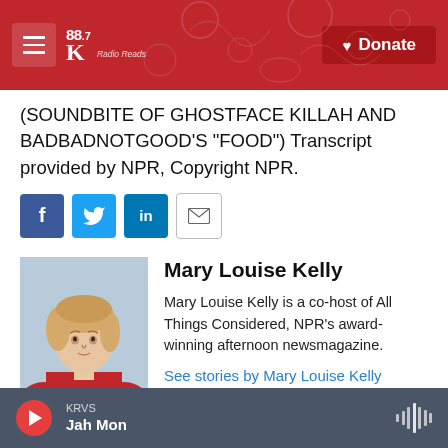88.7 Radio Reads | Donate
(SOUNDBITE OF GHOSTFACE KILLAH AND BADBADNOTGOOD'S "FOOD") Transcript provided by NPR, Copyright NPR.
[Figure (other): Social sharing buttons: Facebook, Twitter, LinkedIn, Email]
[Figure (photo): Headshot of Mary Louise Kelly, a blonde woman in a red top]
Mary Louise Kelly
Mary Louise Kelly is a co-host of All Things Considered, NPR's award-winning afternoon newsmagazine.
See stories by Mary Louise Kelly
KRVS | Jah Mon